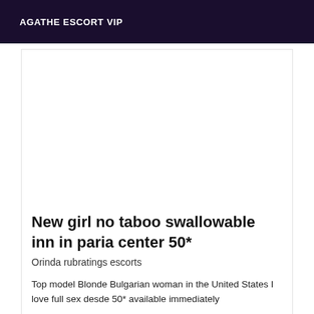AGATHE ESCORT VIP
[Figure (photo): Empty white image placeholder area for an escort listing photo]
New girl no taboo swallowable inn in paria center 50*
Orinda rubratings escorts
Top model Blonde Bulgarian woman in the United States I love full sex desde 50* available immediately